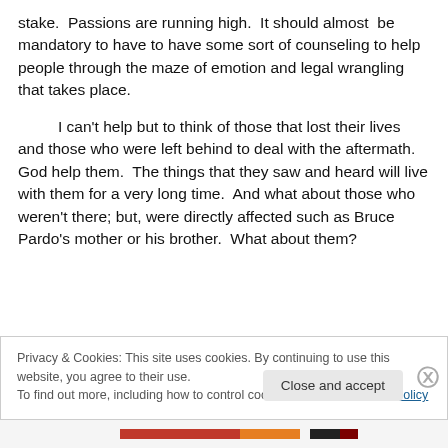stake.  Passions are running high.  It should almost  be mandatory to have to have some sort of counseling to help people through the maze of emotion and legal wrangling that takes place.
I can't help but to think of those that lost their lives and those who were left behind to deal with the aftermath.  God help them.  The things that they saw and heard will live with them for a very long time.  And what about those who weren't there; but, were directly affected such as Bruce Pardo's mother or his brother.  What about them?
Privacy & Cookies: This site uses cookies. By continuing to use this website, you agree to their use.
To find out more, including how to control cookies, see here: Cookie Policy